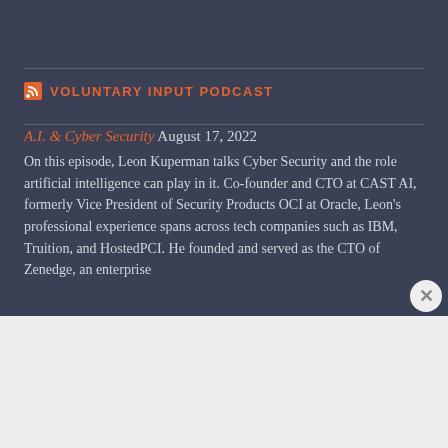VOLUNTARY INPUT PODCAST
A.I. & Cyber Security August 17, 2022
On this episode, Leon Kuperman talks Cyber Security and the role artificial intelligence can play in it. Co-founder and CTO at CAST AI, formerly Vice President of Security Products OCI at Oracle, Leon's professional experience spans across tech companies such as IBM, Truition, and HostedPCI. He founded and served as the CTO of Zenedge, an enterprise
Advertisements
[Figure (illustration): DuckDuckGo advertisement banner: orange background with text 'Search, browse, and email with more privacy. All in One Free App' alongside a smartphone image showing the DuckDuckGo app and logo.]